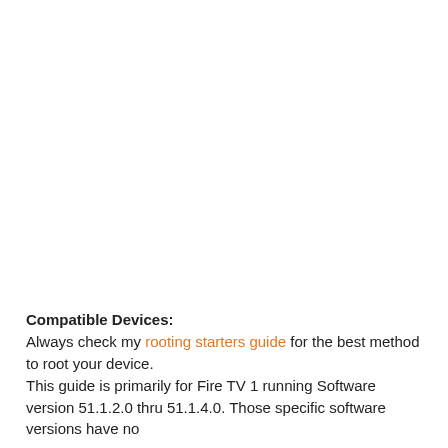Compatible Devices:
Always check my rooting starters guide for the best method to root your device.
This guide is primarily for Fire TV 1 running Software version 51.1.2.0 thru 51.1.4.0. Those specific software versions have no